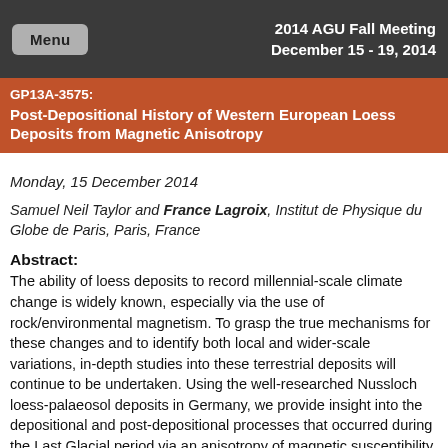Menu | 2014 AGU Fall Meeting December 15 - 19, 2014
GP13A-3575: Post-Depositional History of Western European Loess Deposits from Magnetic Anisotropy
Monday, 15 December 2014
Samuel Neil Taylor and France Lagroix, Institut de Physique du Globe de Paris, Paris, France
Abstract:
The ability of loess deposits to record millennial-scale climate change is widely known, especially via the use of rock/environmental magnetism. To grasp the true mechanisms for these changes and to identify both local and wider-scale variations, in-depth studies into these terrestrial deposits will continue to be undertaken. Using the well-researched Nussloch loess-palaeosol deposits in Germany, we provide insight into the depositional and post-depositional processes that occurred during the Last Glacial period via an anisotropy of magnetic susceptibility (AMS) study. Post-depositional deformation is identified withi...